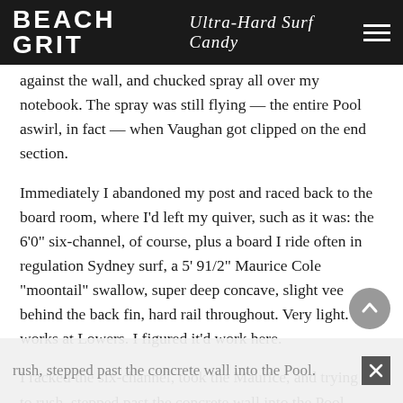BEACH GRIT Ultra-Hard Surf Candy
against the wall, and chucked spray all over my notebook. The spray was still flying — the entire Pool aswirl, in fact — when Vaughan got clipped on the end section.
Immediately I abandoned my post and raced back to the board room, where I'd left my quiver, such as it was: the 6'0" six-channel, of course, plus a board I ride often in regulation Sydney surf, a 5' 91/2" Maurice Cole "moontail" swallow, super deep concave, slight vee behind the back fin, hard rail throughout. Very light. It works at Lowers. I figured it'd work here.
I racked the six-channel, took the Maurice, and trying not to rush, stepped past the concrete wall into the Pool.